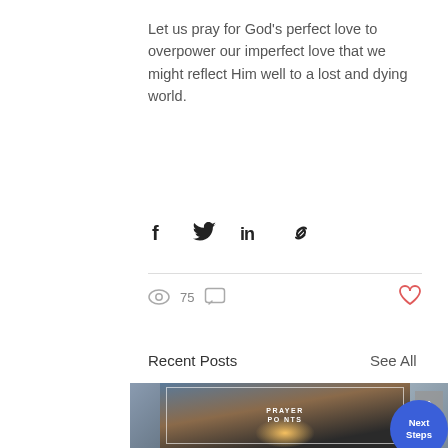Let us pray for God’s perfect love to overpower our imperfect love that we might reflect Him well to a lost and dying world.
[Figure (infographic): Social share icons: Facebook, Twitter, LinkedIn, and link/chain icon]
[Figure (infographic): Stats row: eye/views icon with count 75, comment/chat icon, and red heart like icon]
Recent Posts
See All
[Figure (photo): Prayer Points post card image showing a silhouette of a person standing on rocks at sunset/sunrise over the ocean, with text PRAYER POINTS overlaid. Partially visible images on left and right sides. Next Steps blue circle button and scroll-up arrow button also visible.]